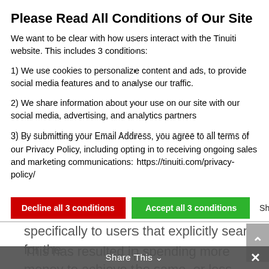Please Read All Conditions of Our Site
We want to be clear with how users interact with the Tinuiti website. This includes 3 conditions:
1) We use cookies to personalize content and ads, to provide social media features and to analyse our traffic.
2) We share information about your use on our site with our social media, advertising, and analytics partners
3) By submitting your Email Address, you agree to all terms of our Privacy Policy, including opting in to receiving ongoing sales and marketing communications: https://tinuiti.com/privacy-policy/
Decline all 3 conditions | Accept all 3 conditions | Show details
specifically to users that explicitly search for the brands you carry.
This has resulted in spending more money to achieve the same, or less, website traffic, and oftentimes revenue.
Share This